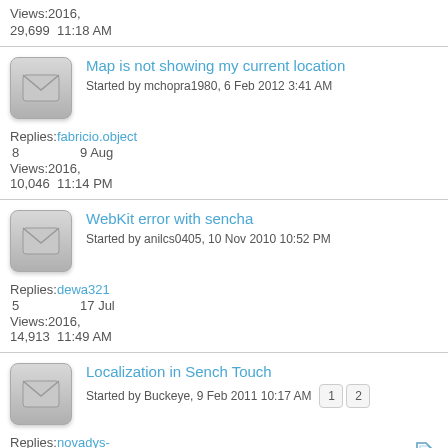Views:2016,
29,699 11:18 AM
Map is not showing my current location
Started by mchopra1980, 6 Feb 2012 3:41 AM
Replies: fabricio.object
8   9 Aug
Views:2016,
10,046 11:14 PM
WebKit error with sencha
Started by anilcs0405, 10 Nov 2010 10:52 PM
Replies: dewa321
5   17 Jul
Views:2016,
14,913 11:49 AM
Localization in Sench Touch
Started by Buckeye, 9 Feb 2011 10:17 AM
Replies: novadys-sbu
15